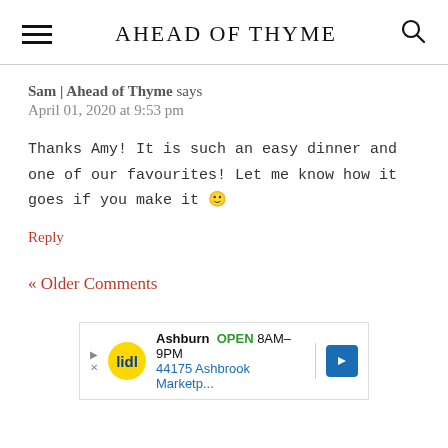AHEAD OF THYME
Sam | Ahead of Thyme says
April 01, 2020 at 9:53 pm
Thanks Amy! It is such an easy dinner and one of our favourites! Let me know how it goes if you make it 🙂
Reply
« Older Comments
[Figure (screenshot): Advertisement banner for Lidl store in Ashburn showing OPEN 8AM-9PM and address 44175 Ashbrook Marketp...]